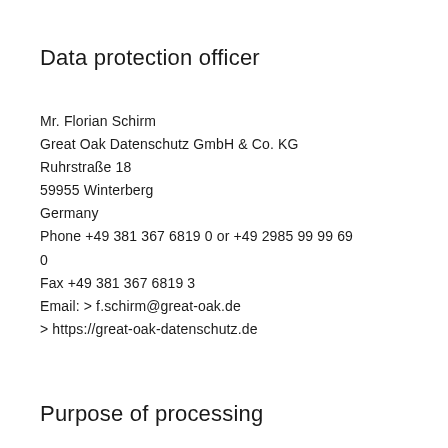Data protection officer
Mr. Florian Schirm
Great Oak Datenschutz GmbH & Co. KG
Ruhrstraße 18
59955 Winterberg
Germany
Phone +49 381 367 6819 0 or +49 2985 99 99 69
0
Fax +49 381 367 6819 3
Email: > f.schirm@great-oak.de
> https://great-oak-datenschutz.de
Purpose of processing